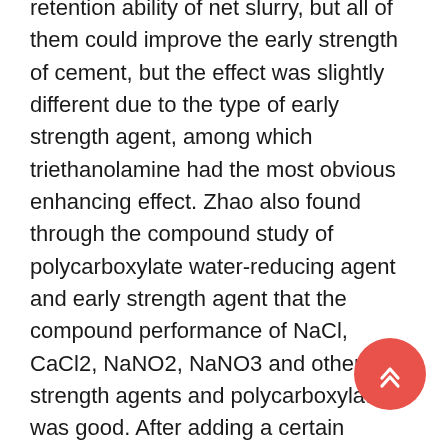retention ability of net slurry, but all of them could improve the early strength of cement, but the effect was slightly different due to the type of early strength agent, among which triethanolamine had the most obvious enhancing effect. Zhao also found through the compound study of polycarboxylate water-reducing agent and early strength agent that the compound performance of NaCl, CaCl2, NaNO2, NaNO3 and other early strength agents and polycarboxylate was good. After adding a certain amount of early strength agent, the compound system had almost no adverse effect on the fluidity and plastic energy of fresh concrete, but all of them could significantly improve the strength of concrete at each age. The mixture of Na2SO4 and Na2S2O3 reduces the fluidity and plasticity of concrete, but it also has a significant strengthening effect on concrete.